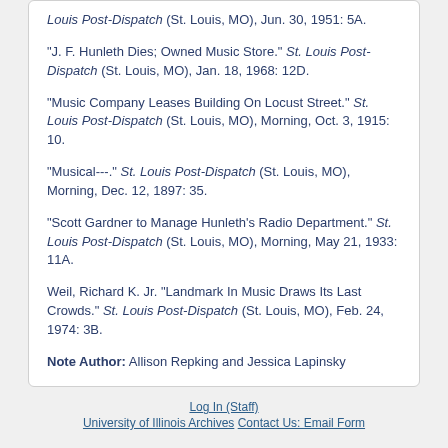Louis Post-Dispatch (St. Louis, MO), Jun. 30, 1951: 5A.
"J. F. Hunleth Dies; Owned Music Store." St. Louis Post-Dispatch (St. Louis, MO), Jan. 18, 1968: 12D.
"Music Company Leases Building On Locust Street." St. Louis Post-Dispatch (St. Louis, MO), Morning, Oct. 3, 1915: 10.
"Musical---." St. Louis Post-Dispatch (St. Louis, MO), Morning, Dec. 12, 1897: 35.
"Scott Gardner to Manage Hunleth's Radio Department." St. Louis Post-Dispatch (St. Louis, MO), Morning, May 21, 1933: 11A.
Weil, Richard K. Jr. "Landmark In Music Draws Its Last Crowds." St. Louis Post-Dispatch (St. Louis, MO), Feb. 24, 1974: 3B.
Note Author: Allison Repking and Jessica Lapinsky
Log In (Staff)
University of Illinois Archives
Contact Us: Email Form